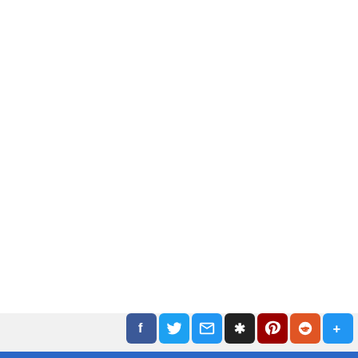[Figure (screenshot): Social media share button bar at bottom of a webpage, showing Facebook, Twitter, Email, StumbleUpon, Pinterest, Reddit, and a More (+) button]